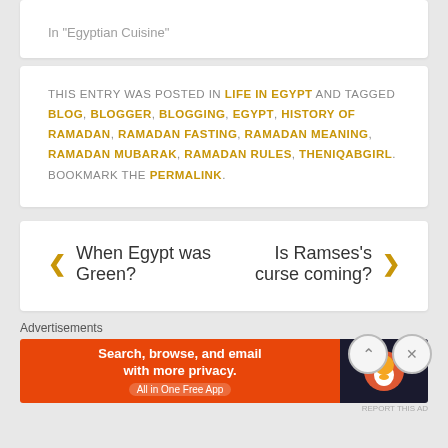In "Egyptian Cuisine"
THIS ENTRY WAS POSTED IN LIFE IN EGYPT AND TAGGED BLOG, BLOGGER, BLOGGING, EGYPT, HISTORY OF RAMADAN, RAMADAN FASTING, RAMADAN MEANING, RAMADAN MUBARAK, RAMADAN RULES, THENIQABGIRL. BOOKMARK THE PERMALINK.
When Egypt was Green?
Is Ramses's curse coming?
Advertisements
[Figure (screenshot): DuckDuckGo advertisement banner: orange left section with text 'Search, browse, and email with more privacy. All in One Free App', dark right section with DuckDuckGo duck logo]